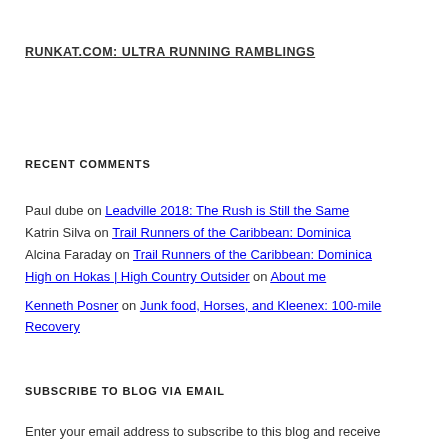RUNKAT.COM: ULTRA RUNNING RAMBLINGS
RECENT COMMENTS
Paul dube on Leadville 2018: The Rush is Still the Same
Katrin Silva on Trail Runners of the Caribbean: Dominica
Alcina Faraday on Trail Runners of the Caribbean: Dominica
High on Hokas | High Country Outsider on About me
Kenneth Posner on Junk food, Horses, and Kleenex: 100-mile Recovery
SUBSCRIBE TO BLOG VIA EMAIL
Enter your email address to subscribe to this blog and receive